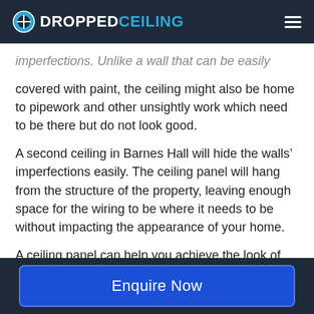DROPPEDCEILING
imperfections. Unlike a wall that can be easily covered with paint, the ceiling might also be home to pipework and other unsightly work which need to be there but do not look good.
A second ceiling in Barnes Hall will hide the walls’ imperfections easily. The ceiling panel will hang from the structure of the property, leaving enough space for the wiring to be where it needs to be without impacting the appearance of your home.
A ceiling panel can help you achieve the look of your home or office that you have been
Enquire Now